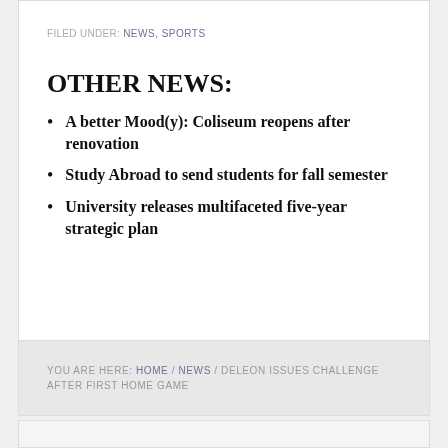FILED UNDER: NEWS, SPORTS
OTHER NEWS:
A better Mood(y): Coliseum reopens after renovation
Study Abroad to send students for fall semester
University releases multifaceted five-year strategic plan
YOU ARE HERE: HOME / NEWS / DELEON ISSUES CHALLENGE AFTER FIRST HOME GAME